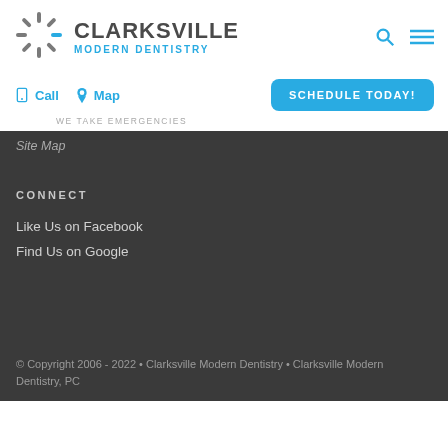[Figure (logo): Clarksville Modern Dentistry sunburst logo with blue and gray rays]
CLARKSVILLE MODERN DENTISTRY
Call   Map   SCHEDULE TODAY!
WE TAKE EMERGENCIES
Site Map
CONNECT
Like Us on Facebook
Find Us on Google
© Copyright 2006 - 2022 • Clarksville Modern Dentistry • Clarksville Modern Dentistry, PC